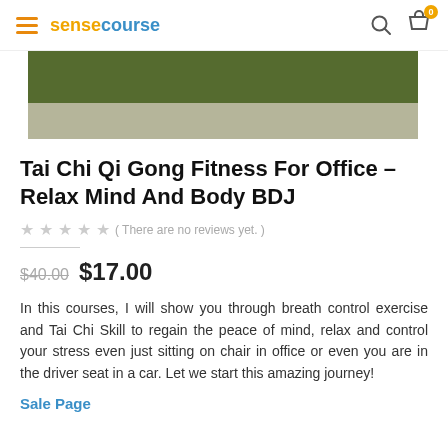sensecourse
[Figure (illustration): Course thumbnail image with dark olive green top bar and light gray/khaki bottom section]
Tai Chi Qi Gong Fitness For Office – Relax Mind And Body BDJ
★★★★★ ( There are no reviews yet. )
$40.00  $17.00
In this courses, I will show you through breath control exercise and Tai Chi Skill to regain the peace of mind, relax and control your stress even just sitting on chair in office or even you are in the driver seat in a car. Let we start this amazing journey!
Sale Page